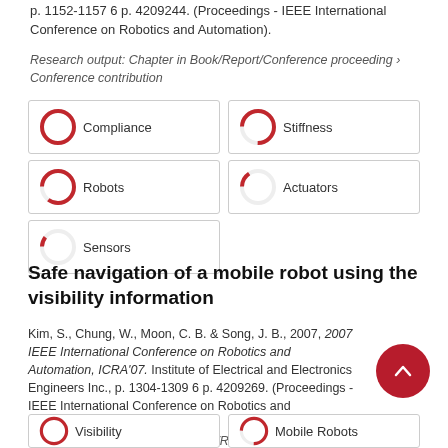p. 1152-1157 6 p. 4209244. (Proceedings - IEEE International Conference on Robotics and Automation).
Research output: Chapter in Book/Report/Conference proceeding › Conference contribution
[Figure (infographic): Keyword pills with donut-chart icons: Compliance (100%), Stiffness (75%), Robots (85%), Actuators (15%), Sensors (10%)]
Safe navigation of a mobile robot using the visibility information
Kim, S., Chung, W., Moon, C. B. & Song, J. B., 2007, 2007 IEEE International Conference on Robotics and Automation, ICRA'07. Institute of Electrical and Electronics Engineers Inc., p. 1304-1309 6 p. 4209269. (Proceedings - IEEE International Conference on Robotics and Automation).
Research output: Chapter in Book/Report/Conference proceeding › Conference contribution
[Figure (infographic): Keyword pills with donut-chart icons: Visibility (100%), Mobile Robots (75%)]